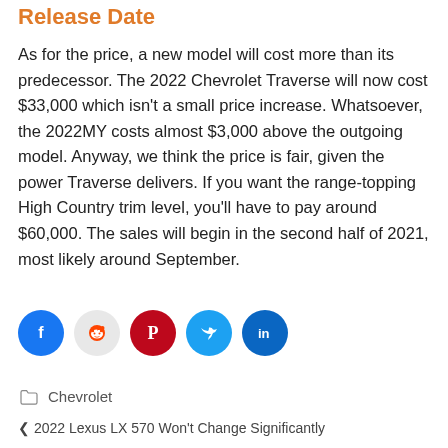Release Date
As for the price, a new model will cost more than its predecessor. The 2022 Chevrolet Traverse will now cost $33,000 which isn't a small price increase. Whatsoever, the 2022MY costs almost $3,000 above the outgoing model. Anyway, we think the price is fair, given the power Traverse delivers. If you want the range-topping High Country trim level, you'll have to pay around $60,000. The sales will begin in the second half of 2021, most likely around September.
[Figure (other): Social share buttons: Facebook, Reddit, Pinterest, Twitter, LinkedIn]
Chevrolet
2022 Lexus LX 570 Won't Change Significantly